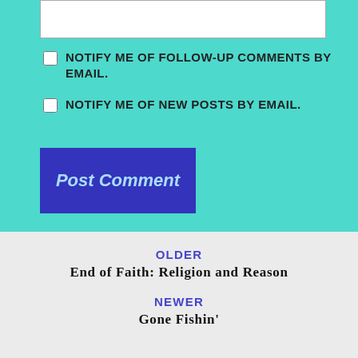NOTIFY ME OF FOLLOW-UP COMMENTS BY EMAIL.
NOTIFY ME OF NEW POSTS BY EMAIL.
Post Comment
OLDER
End of Faith: Religion and Reason
NEWER
Gone Fishin'